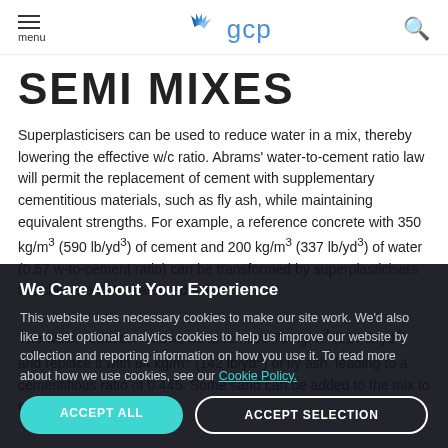menu | gcp | search
SEMI MIXES
Superplasticisers can be used to reduce water in a mix, thereby lowering the effective w/c ratio. Abrams' water-to-cement ratio law will permit the replacement of cement with supplementary cementitious materials, such as fly ash, while maintaining equivalent strengths. For example, a reference concrete with 350 kg/m³ (590 lb/yd³) of cement and 200 kg/m³ (337 lb/yd³) of water (0.57 w-to-cement ratio) can be transformed by superplasticisers to achieve a 20% water reduction. The water reduction allows us to remove 70 kg/m³ (118 lb/yd³) and replace it with 84 kg/m³ (142 lb/yd³) of fly ash, leading to a cementitious ratio of 0.445. Some sand can be added to the mix to maintain equivalent yield.
We Care About Your Experience — This website uses necessary cookies to make our site work. We'd also like to set optional analytics cookies to help us improve our website by collection and reporting information on how you use it. To read more about how we use cookies, see our Cookie Policy. [ACCEPT ALL] [ACCEPT SELECTION]